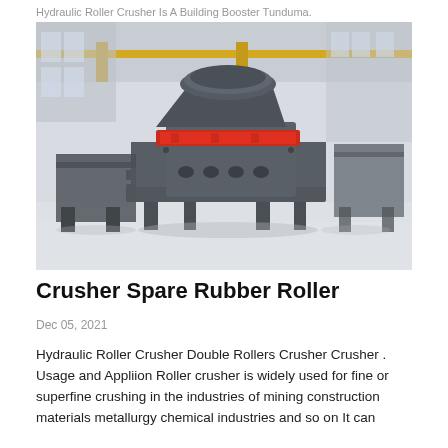Hydraulic Roller Crusher Is A Building Booster Tunduma.
[Figure (photo): Industrial sand maker / VSI crusher machine photographed in a large factory warehouse with steel frame structure, yellow overhead crane visible, concrete floor. The machine is dark grey/charcoal colored with a distinctive red band around its middle rotor section.]
Crusher Spare Rubber Roller
Dec 05, 2021
Hydraulic Roller Crusher Double Rollers Crusher Crusher . Usage and Appliion Roller crusher is widely used for fine or superfine crushing in the industries of mining construction materials metallurgy chemical industries and so on It can